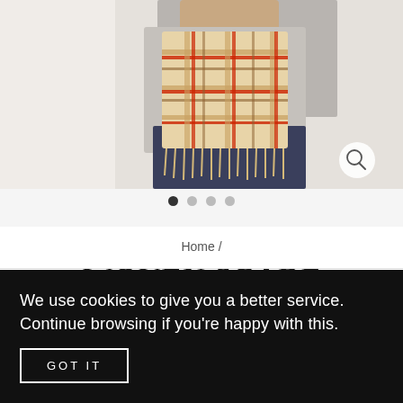[Figure (photo): Person wearing a beige/tan tartan check woven scarf with fringe, paired with a grey sweater and navy trousers. A magnifying glass search icon appears in the bottom right of the image.]
• • • •
Home /
WOVEN SCARF
HSCCP
£69.00  £45.00  Save £24.00
We use cookies to give you a better service. Continue browsing if you're happy with this.
GOT IT